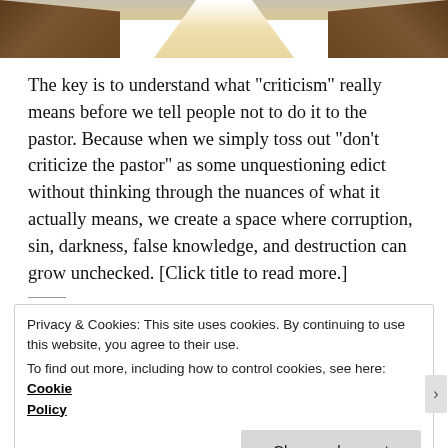[Figure (photo): Interior of a church showing wooden pews on either side and a light-filled aisle leading forward, viewed from above/behind]
The key is to understand what "criticism" really means before we tell people not to do it to the pastor. Because when we simply toss out "don't criticize the pastor" as some unquestioning edict without thinking through the nuances of what it actually means, we create a space where corruption, sin, darkness, false knowledge, and destruction can grow unchecked. [Click title to read more.]
Privacy & Cookies: This site uses cookies. By continuing to use this website, you agree to their use.
To find out more, including how to control cookies, see here: Cookie Policy
Close and accept